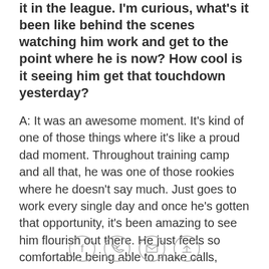it in the league. I'm curious, what's it been like behind the scenes watching him work and get to the point where he is now? How cool is it seeing him get that touchdown yesterday?
A: It was an awesome moment. It's kind of one of those things where it's like a proud dad moment. Throughout training camp and all that, he was one of those rookies where he doesn't say much. Just goes to work every single day and once he's gotten that opportunity, it's been amazing to see him flourish out there. He just feels so comfortable being able to make calls, make everything simpler even for me out there. It's cool to see him obviously get that touchdown this last game. I was proud of him.
Q: When you play a Thursday night game after a
[Figure (other): Social sharing icons: Facebook, Twitter, Email, Link]